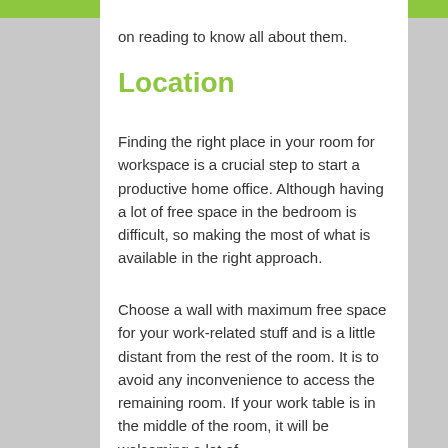on reading to know all about them.
Location
Finding the right place in your room for workspace is a crucial step to start a productive home office. Although having a lot of free space in the bedroom is difficult, so making the most of what is available in the right approach.
Choose a wall with maximum free space for your work-related stuff and is a little distant from the rest of the room. It is to avoid any inconvenience to access the remaining room. If your work table is in the middle of the room, it will be welcoming a lot of